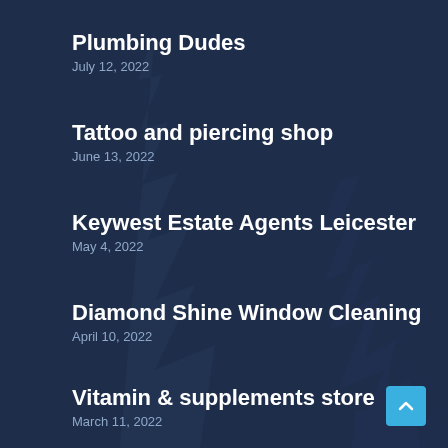Plumbing Dudes
July 12, 2022
Tattoo and piercing shop
June 13, 2022
Keywest Estate Agents Leicester
May 4, 2022
Diamond Shine Window Cleaning
April 10, 2022
Vitamin & supplements store
March 11, 2022